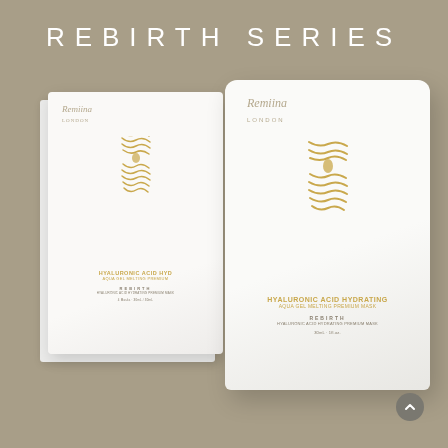REBIRTH SERIES
[Figure (photo): Product photo showing Remiina Hyaluronic Acid Hydrating Aqua Gel Melting Premium Mask box and individual packet on a taupe/beige background. Both feature gold wavy double-drop swirl logo. Text on products: HYALURONIC ACID HYDRATING, AQUA GEL MELTING PREMIUM MASK, REBIRTH. A small circular scroll-up button appears at lower right.]